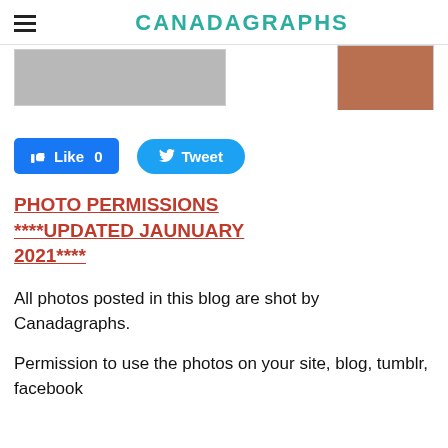CANADAGRAPHS
[Figure (photo): Two partial photos: a grayscale/muted wide photo on the left and a color photo of a person on the right]
[Figure (screenshot): Facebook Like button showing 'Like 0' and Twitter Tweet button]
PHOTO PERMISSIONS ****UPDATED JAUNUARY 2021****
All photos posted in this blog are shot by Canadagraphs.
Permission to use the photos on your site, blog, tumblr, facebook